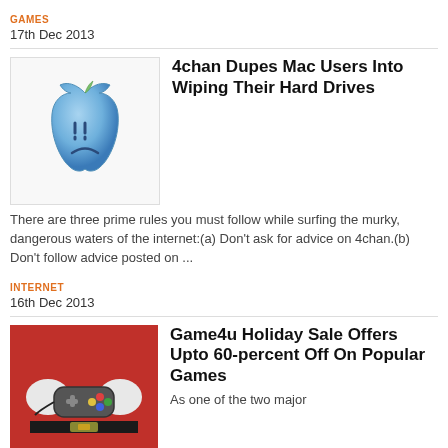GAMES
17th Dec 2013
[Figure (illustration): Sad Apple logo illustration — blue Apple logo with a frowning face]
4chan Dupes Mac Users Into Wiping Their Hard Drives
There are three prime rules you must follow while surfing the murky, dangerous waters of the internet:(a) Don't ask for advice on 4chan.(b) Don't follow advice posted on ...
INTERNET
16th Dec 2013
[Figure (photo): Santa Claus holding a game controller]
Game4u Holiday Sale Offers Upto 60-percent Off On Popular Games
As one of the two major